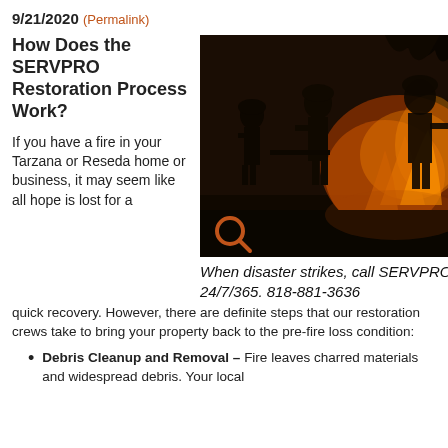9/21/2020 (Permalink)
How Does the SERVPRO Restoration Process Work?
If you have a fire in your Tarzana or Reseda home or business, it may seem like all hope is lost for a quick recovery. However, there are definite steps that our restoration crews take to bring your property back to the pre-fire loss condition:
[Figure (photo): Firefighters silhouetted against an active wildfire at night, with bright orange flames and smoke in the background. An orange search/magnify icon is overlaid at the bottom left.]
When disaster strikes, call SERVPRO 24/7/365. 818-881-3636
Debris Cleanup and Removal – Fire leaves charred materials and widespread debris. Your local